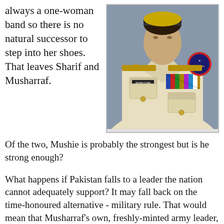always a one-woman band so there is no natural successor to step into her shoes. That leaves Sharif and Musharraf.
[Figure (photo): Military officer in formal white uniform with medals, ribbons, and shoulder patches visible on the upper body.]
Of the two, Mushie is probably the strongest but is he strong enough?
What happens if Pakistan falls to a leader the nation cannot adequately support? It may fall back on the time-honoured alternative - military rule. That would mean that Musharraf's own, freshly-minted army leader, Ashfaq Kiyani, could step into his boss's old spot.
Kiyani is not only a career soldier from Punjab but he was also his nation's spymaster as former head of the